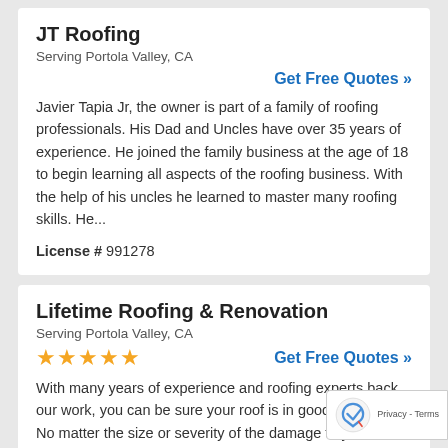JT Roofing
Serving Portola Valley, CA
Get Free Quotes »
Javier Tapia Jr, the owner is part of a family of roofing professionals. His Dad and Uncles have over 35 years of experience. He joined the family business at the age of 18 to begin learning all aspects of the roofing business. With the help of his uncles he learned to master many roofing skills. He...
License # 991278
Lifetime Roofing & Renovation
Serving Portola Valley, CA
★★★★★
Get Free Quotes »
With many years of experience and roofing experts backing our work, you can be sure your roof is in good hands with us. No matter the size or severity of the damage to your roof, we will come up with a repair solution that fits both your needs...